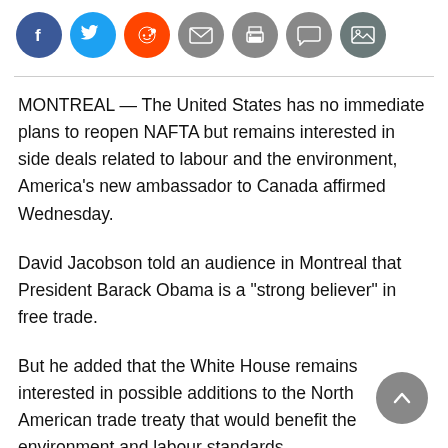[Figure (other): Social media sharing icons: Facebook (blue), Twitter (blue), Reddit (orange), Email (grey), Print (grey), Comment (grey), Image/Gallery (grey)]
MONTREAL — The United States has no immediate plans to reopen NAFTA but remains interested in side deals related to labour and the environment, America's new ambassador to Canada affirmed Wednesday.
David Jacobson told an audience in Montreal that President Barack Obama is a “strong believer” in free trade.
But he added that the White House remains interested in possible additions to the North American trade treaty that would benefit the environment and labour standards.